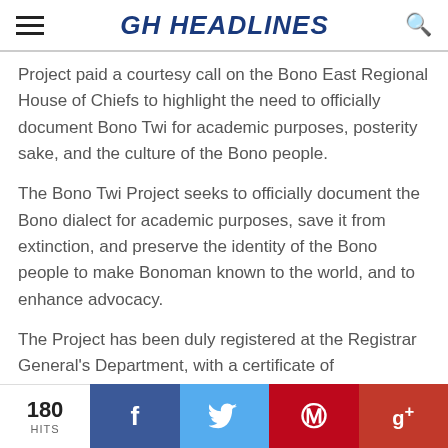GH HEADLINES
Project paid a courtesy call on the Bono East Regional House of Chiefs to highlight the need to officially document Bono Twi for academic purposes, posterity sake, and the culture of the Bono people.
The Bono Twi Project seeks to officially document the Bono dialect for academic purposes, save it from extinction, and preserve the identity of the Bono people to make Bonoman known to the world, and to enhance advocacy.
The Project has been duly registered at the Registrar General's Department, with a certificate of incorporation. Mr. Sabi said since Nananom (the chiefs) were
180 HITS | f | t | p | g+